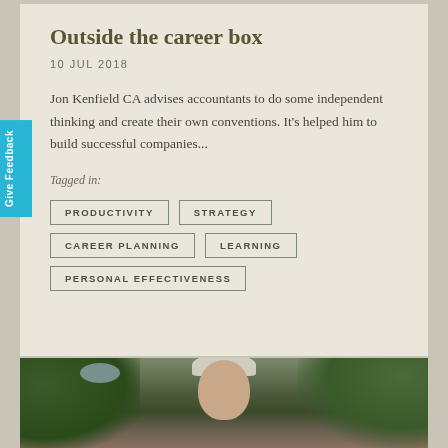Outside the career box
10 JUL 2018
Jon Kenfield CA advises accountants to do some independent thinking and create their own conventions. It's helped him to build successful companies...
Tagged in:
PRODUCTIVITY
STRATEGY
CAREER PLANNING
LEARNING
PERSONAL EFFECTIVENESS
[Figure (photo): Outdoor portrait of a man wearing a cap, looking upward, with trees and foliage in the background]